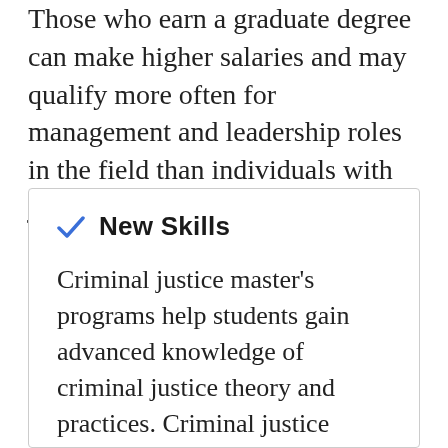Those who earn a graduate degree can make higher salaries and may qualify more often for management and leadership roles in the field than individuals with just a bachelor's degree. Below, we explain some benefits of earning a criminal justice master's degree.
New Skills
Criminal justice master's programs help students gain advanced knowledge of criminal justice theory and practices. Criminal justice majors develop in-demand, career-relevant skills in writing, research and analysis, management, and administration